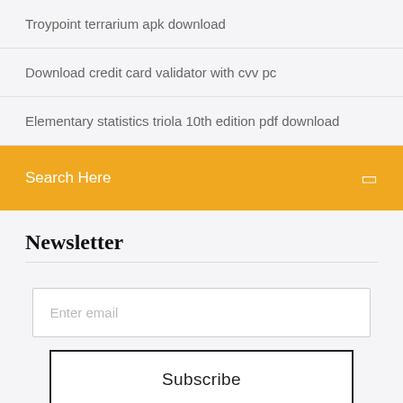Troypoint terrarium apk download
Download credit card validator with cvv pc
Elementary statistics triola 10th edition pdf download
Search Here
Newsletter
Enter email
Subscribe